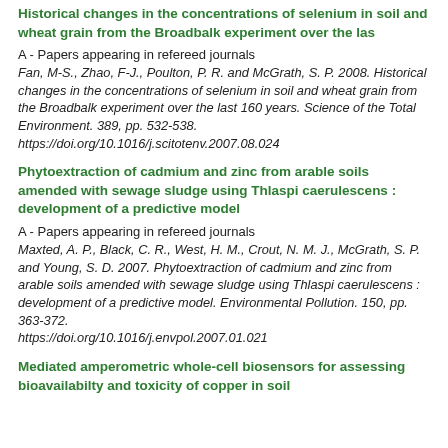Historical changes in the concentrations of selenium in soil and wheat grain from the Broadbalk experiment over the last 160 years
A - Papers appearing in refereed journals
Fan, M-S., Zhao, F-J., Poulton, P. R. and McGrath, S. P. 2008. Historical changes in the concentrations of selenium in soil and wheat grain from the Broadbalk experiment over the last 160 years. Science of the Total Environment. 389, pp. 532-538. https://doi.org/10.1016/j.scitotenv.2007.08.024
Phytoextraction of cadmium and zinc from arable soils amended with sewage sludge using Thlaspi caerulescens : development of a predictive model
A - Papers appearing in refereed journals
Maxted, A. P., Black, C. R., West, H. M., Crout, N. M. J., McGrath, S. P. and Young, S. D. 2007. Phytoextraction of cadmium and zinc from arable soils amended with sewage sludge using Thlaspi caerulescens : development of a predictive model. Environmental Pollution. 150, pp. 363-372. https://doi.org/10.1016/j.envpol.2007.01.021
Mediated amperometric whole-cell biosensors for assessing bioavailabilty and toxicity of copper in soil